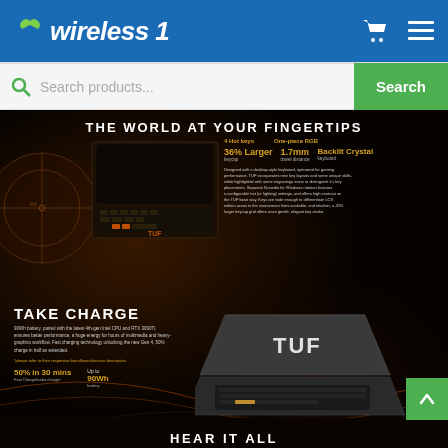wireless 1
Search products...  Search
[Figure (screenshot): ASUS TUF gaming laptop product page screenshot on dark background showing keyboard close-up with text 'THE WORLD AT YOUR FINGERTIPS' and specs: 4 Hot keys, One-piece RGB, 36% Larger keycap, 1.7mm travel distance, Backlit Crystal keyboard]
THE WORLD AT YOUR FINGERTIPS
TAKE CHARGE
90Wh battery, paired with the latest 4th-gen Intel CPU and RTX 3060Ti, ensures better performance, a huge energy for hours of multimedia and heavy-graphics workflow. Fast charging technology unlocking the new Gen 4, 50% charge in half an extended.
50% in 30 mins Fast Charge/turbo charger
HEAR IT ALL